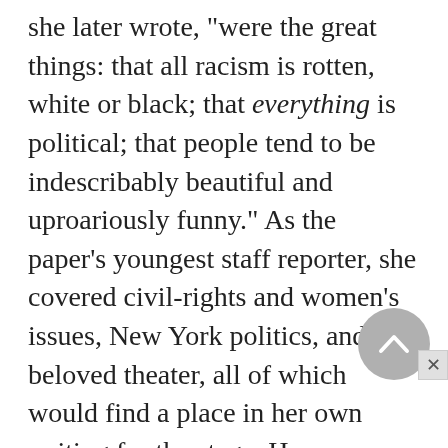she later wrote, "were the great things: that all racism is rotten, white or black; that everything is political; that people tend to be indescribably beautiful and uproariously funny." As the paper's youngest staff reporter, she covered civil-rights and women's issues, New York politics, and her beloved theater, all of which would find a place in her own writing for the stage. Her assignments began to impress upon her the inferior status of schools and housing in predominantly African-